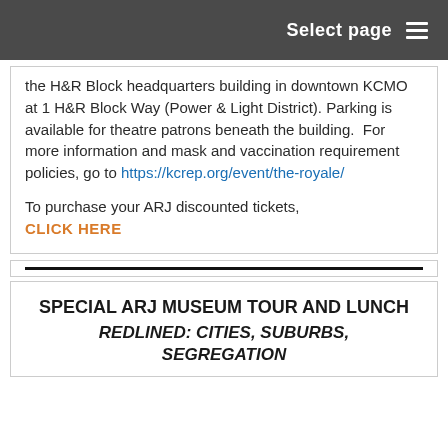Select page
the H&R Block headquarters building in downtown KCMO at 1 H&R Block Way (Power & Light District). Parking is available for theatre patrons beneath the building.  For more information and mask and vaccination requirement policies, go to https://kcrep.org/event/the-royale/

To purchase your ARJ discounted tickets, CLICK HERE
SPECIAL ARJ MUSEUM TOUR AND LUNCH
REDLINED: CITIES, SUBURBS, SEGREGATION